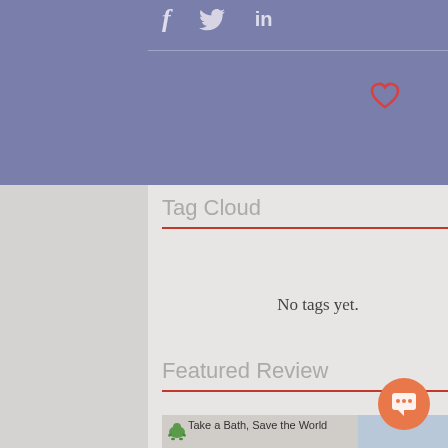[Figure (screenshot): Purple banner with social media icons (f, bird/Twitter, in) and a horizontal divider line with a heart icon]
Tag Cloud
No tags yet.
Featured Review
[Figure (photo): Featured Review image showing 'Take a Bath, Save the World' with a book cover placeholder on left and a photo of a meerkat figurine and books on the right]